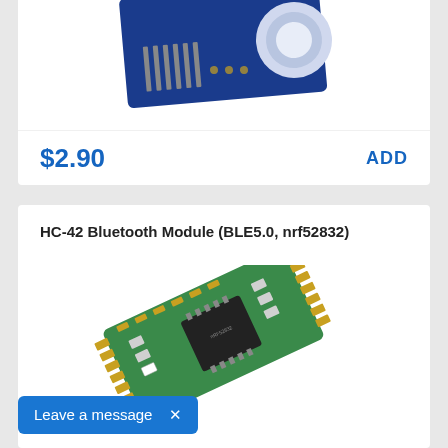[Figure (photo): Partial view of a blue Arduino-compatible sensor module PCB with header pins, shown from above at slight angle]
$2.90
ADD
HC-42 Bluetooth Module (BLE5.0, nrf52832)
[Figure (photo): HC-42 Bluetooth module green PCB with nrf52832 chip, showing pads on sides, angled view]
Leave a message  ×